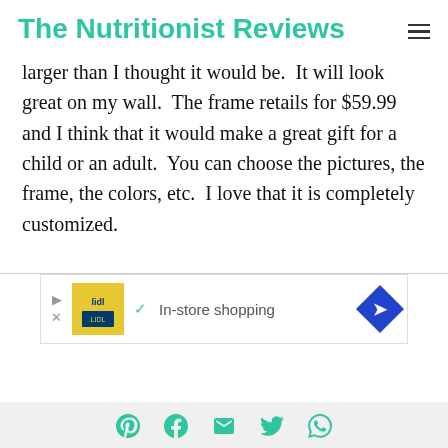The Nutritionist Reviews
larger than I thought it would be.  It will look great on my wall.  The frame retails for $59.99 and I think that it would make a great gift for a child or an adult.  You can choose the pictures, the frame, the colors, etc.  I love that it is completely customized.
[Figure (other): Advertisement banner showing Lidl store logo, a checkmark with 'In-store shopping' text, and a blue directional arrow icon]
[Figure (other): Social sharing icons row: Pinterest, Facebook, Email, Twitter, WhatsApp in teal color]